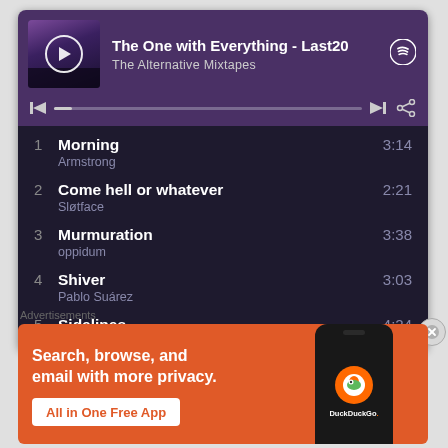[Figure (screenshot): Spotify web player showing playlist 'The One with Everything - Last20' by The Alternative Mixtapes, with album art, play button, progress bar, and track listing]
1  Morning  Armstrong  3:14
2  Come hell or whatever  Sløtface  2:21
3  Murmuration  oppidum  3:38
4  Shiver  Pablo Suárez  3:03
5  Sidelines  Phoebe Bridgers
Advertisements
[Figure (screenshot): DuckDuckGo advertisement banner: 'Search, browse, and email with more privacy. All in One Free App' with DuckDuckGo logo on a phone graphic]